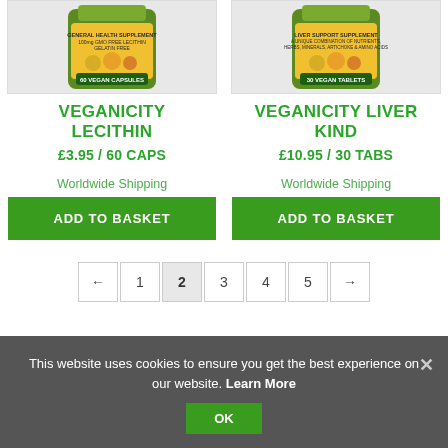[Figure (photo): Product image of Veganicity Lecithin supplement bottle, 60 Vegan Capsules, yellow and green label]
VEGANICITY LECITHIN
£3.95 / 60 CAPS
Worldwide Shipping
ADD TO BASKET
[Figure (photo): Product image of Veganicity Liver Kind supplement bottle, 30 Vegan Tablets, yellow and green label]
VEGANICITY LIVER KIND
£10.95 / 30 TABS
Worldwide Shipping
ADD TO BASKET
← 1 2 3 4 5 →
This website uses cookies to ensure you get the best experience on our website. Learn More
OK